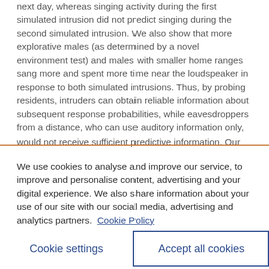next day, whereas singing activity during the first simulated intrusion did not predict singing during the second simulated intrusion. We also show that more explorative males (as determined by a novel environment test) and males with smaller home ranges sang more and spent more time near the loudspeaker in response to both simulated intrusions. Thus, by probing residents, intruders can obtain reliable information about subsequent response probabilities, while eavesdroppers from a distance, who can use auditory information only, would not receive sufficient predictive information. Our findings also suggest that males with larger home ranges are more tolerant toward intruders, which could reflect a trade-off between
We use cookies to analyse and improve our service, to improve and personalise content, advertising and your digital experience. We also share information about your use of our site with our social media, advertising and analytics partners. Cookie Policy
Cookie settings
Accept all cookies